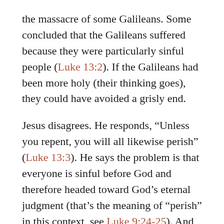the massacre of some Galileans. Some concluded that the Galileans suffered because they were particularly sinful people (Luke 13:2). If the Galileans had been more holy (their thinking goes), they could have avoided a grisly end.
Jesus disagrees. He responds, “Unless you repent, you will all likewise perish” (Luke 13:3). He says the problem is that everyone is sinful before God and therefore headed toward God’s eternal judgment (that’s the meaning of “perish” in this context, see Luke 9:24-25). And according to Jesus, the solution to this massive problem of divine judgment isn’t to improve one’s behavior, but to “repent.”